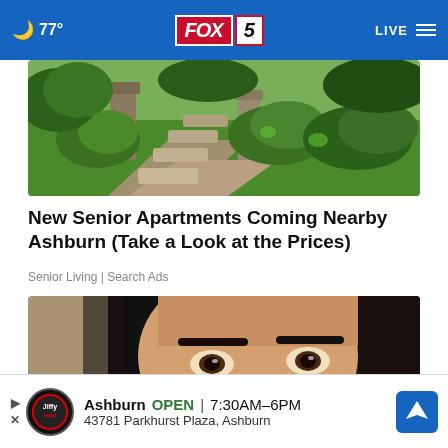FOX 5 | 77° | LIVE
[Figure (photo): Outdoor garden path with stone steps and green lawn]
New Senior Apartments Coming Nearby Ashburn (Take a Look at the Prices)
Senior Living | Search Ads
[Figure (photo): Close-up of a woman with dark hair holding a tissue to her nose]
Ashburn OPEN | 7:30AM–6PM  43781 Parkhurst Plaza, Ashburn